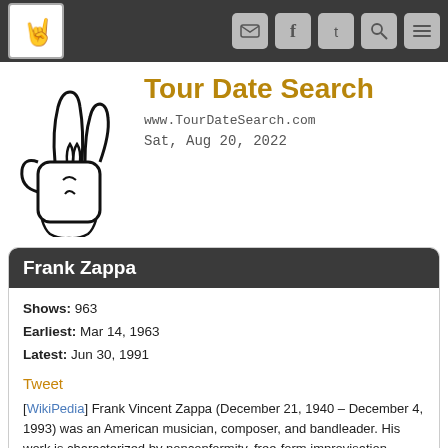Tour Date Search — www.TourDateSearch.com — Sat, Aug 20, 2022
[Figure (illustration): Rock hand sign logo illustration in black and white outline style]
Frank Zappa
Shows: 963
Earliest: Mar 14, 1963
Latest: Jun 30, 1991
Tweet
[WikiPedia] Frank Vincent Zappa (December 21, 1940 – December 4, 1993) was an American musician, composer, and bandleader. His work is characterized by nonconformity, free-form improvisation, sound experiments, musical virtuosity and satire of American culture. In a career spanning more than 30 years, Zappa composed rock, pop, jazz, jazz fusion, orchestral and musique concrète works, and produced almost all of the 60-plus albums that he released with his band the Mothers of